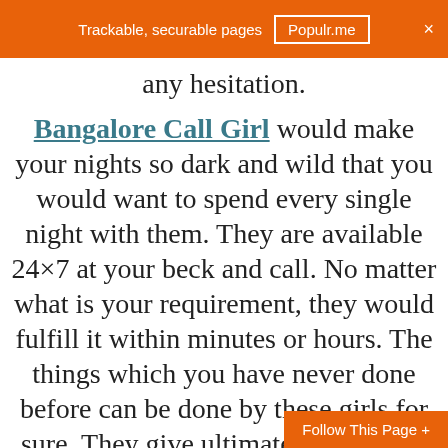Trackable, securable pages  Populr.me  ×
any hesitation.
Bangalore Call Girl would make your nights so dark and wild that you would want to spend every single night with them. They are available 24×7 at your beck and call. No matter what is your requirement, they would fulfill it within minutes or hours. The things which you have never done before can be done by these girls for sure. They give ultimate satisfaction to all kinds of people irrespective of their social status and age etc. They keep themselves updated with modern trends of fashion so that they can impress any person from any part of the world easily in any event like parties or
Follow This Page +